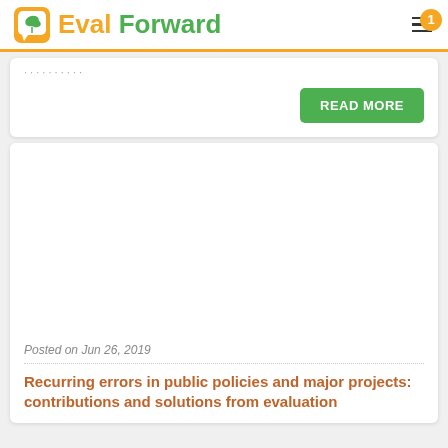Eval Forward
READ MORE
Posted on Jun 26, 2019
Recurring errors in public policies and major projects: contributions and solutions from evaluation